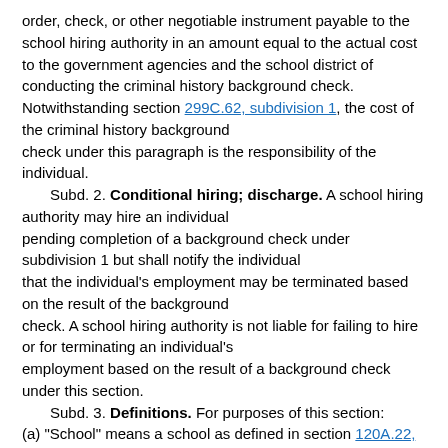order, check, or other negotiable instrument payable to the school hiring authority in an amount equal to the actual cost to the government agencies and the school district of conducting the criminal history background check. Notwithstanding section 299C.62, subdivision 1, the cost of the criminal history background check under this paragraph is the responsibility of the individual.
Subd. 2. Conditional hiring; discharge. A school hiring authority may hire an individual pending completion of a background check under subdivision 1 but shall notify the individual that the individual's employment may be terminated based on the result of the background check. A school hiring authority is not liable for failing to hire or for terminating an individual's employment based on the result of a background check under this section.
Subd. 3. Definitions. For purposes of this section:
(a) "School" means a school as defined in section 120A.22, subdivision 4, except a home